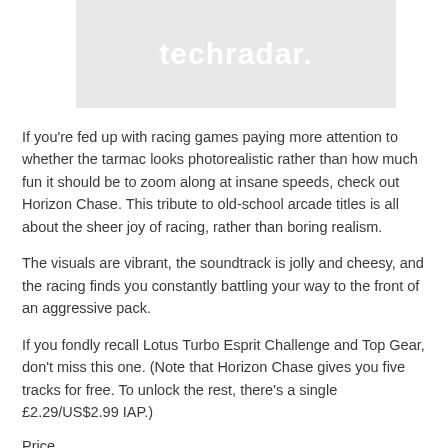[Figure (logo): TechRadar logo on grey background]
If you're fed up with racing games paying more attention to whether the tarmac looks photorealistic rather than how much fun it should be to zoom along at insane speeds, check out Horizon Chase. This tribute to old-school arcade titles is all about the sheer joy of racing, rather than boring realism.
The visuals are vibrant, the soundtrack is jolly and cheesy, and the racing finds you constantly battling your way to the front of an aggressive pack.
If you fondly recall Lotus Turbo Esprit Challenge and Top Gear, don't miss this one. (Note that Horizon Chase gives you five tracks for free. To unlock the rest, there's a single £2.29/US$2.99 IAP.)
Price